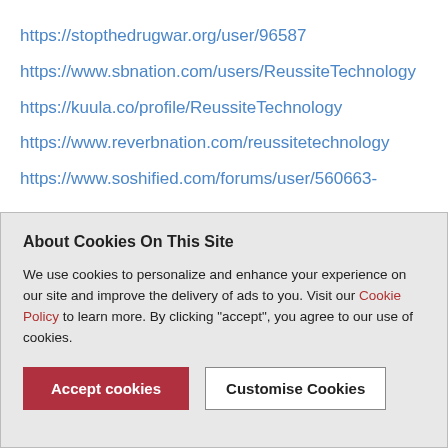https://stopthedrugwar.org/user/96587
https://www.sbnation.com/users/ReussiteTechnology
https://kuula.co/profile/ReussiteTechnology
https://www.reverbnation.com/reussitetechnology
https://www.soshified.com/forums/user/560663-
About Cookies On This Site
We use cookies to personalize and enhance your experience on our site and improve the delivery of ads to you. Visit our Cookie Policy to learn more. By clicking "accept", you agree to our use of cookies.